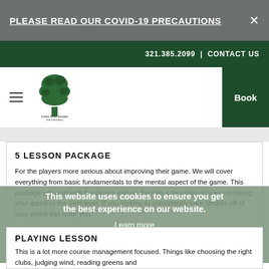PLEASE READ OUR COVID-19 PRECAUTIONS
321.385.2099 | CONTACT US
[Figure (logo): Tree logo for Indian River Estates Golf & Academy]
5 LESSON PACKAGE
For the players more serious about improving their game. We will cover everything from basic fundamentals to the mental aspect of the game. This package will start with the basics and go through a four step process to taking your game to the next level. If you looking to consistently take strokes off of your game this is for you.
This website uses cookies to ensure you get the best experience on our website.
Learn more
Got it!
PLAYING LESSON
This is a lot more course management focused. Things like choosing the right clubs, judging wind, reading greens and